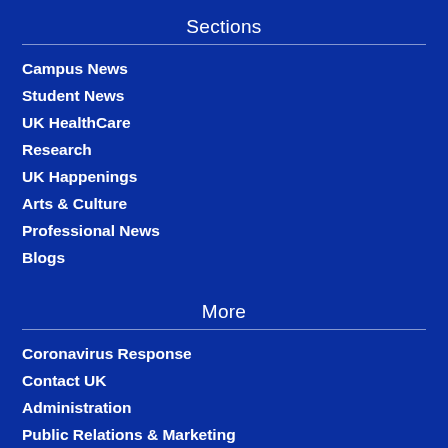Sections
Campus News
Student News
UK HealthCare
Research
UK Happenings
Arts & Culture
Professional News
Blogs
More
Coronavirus Response
Contact UK
Administration
Public Relations & Marketing
Experts Directory
Media Contacts